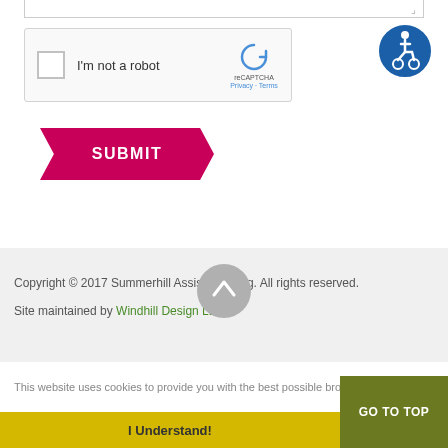[Figure (screenshot): reCAPTCHA widget with checkbox labeled 'I'm not a robot']
[Figure (logo): Accessibility icon: person in wheelchair in blue circle]
[Figure (other): SUBMIT button in magenta/pink with parallelogram shape]
Copyright © 2017 Summerhill Assisted Living. All rights reserved.
Site maintained by Windhill Design LLC
[Figure (other): Scroll to top arrow button (gray circle with upward arrow)]
This website uses cookies to provide you with the best possible brow...
GO TO TOP
I Understand!